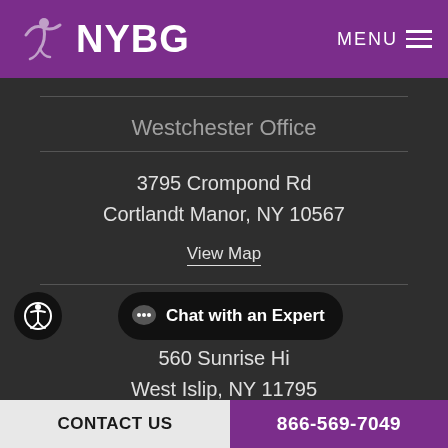NYBG | MENU
Westchester Office
3795 Crompond Rd
Cortlandt Manor, NY 10567
View Map
West Islip Office
560 Sunrise Hi...
West Islip, NY 11795
CONTACT US | 866-569-7049